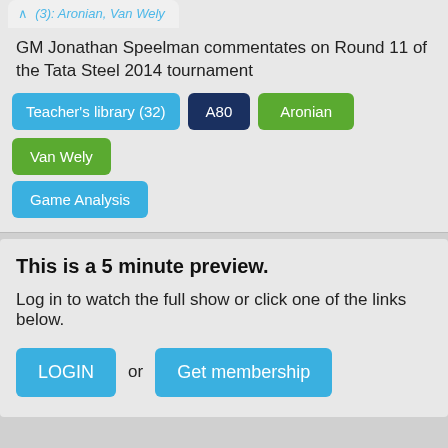(3): Aronian, Van Wely
GM Jonathan Speelman commentates on Round 11 of the Tata Steel 2014 tournament
Teacher's library (32)
A80
Aronian
Van Wely
Game Analysis
This is a 5 minute preview.
Log in to watch the full show or click one of the links below.
LOGIN
or
Get membership